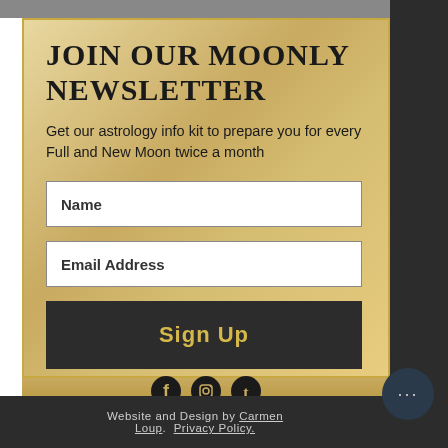Join our Moonly Newsletter
Get our astrology info kit to prepare you for every Full and New Moon twice a month
[Figure (screenshot): Newsletter signup form with Name field, Email Address field, and Sign Up button]
[Figure (infographic): Social media icons: Facebook, Instagram, Tumblr]
Website and Design by Carmen Loup.  Privacy Policy.